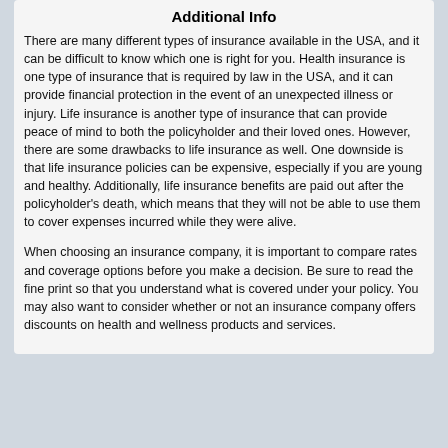Additional Info
There are many different types of insurance available in the USA, and it can be difficult to know which one is right for you. Health insurance is one type of insurance that is required by law in the USA, and it can provide financial protection in the event of an unexpected illness or injury. Life insurance is another type of insurance that can provide peace of mind to both the policyholder and their loved ones. However, there are some drawbacks to life insurance as well. One downside is that life insurance policies can be expensive, especially if you are young and healthy. Additionally, life insurance benefits are paid out after the policyholder's death, which means that they will not be able to use them to cover expenses incurred while they were alive.
When choosing an insurance company, it is important to compare rates and coverage options before you make a decision. Be sure to read the fine print so that you understand what is covered under your policy. You may also want to consider whether or not an insurance company offers discounts on health and wellness products and services.